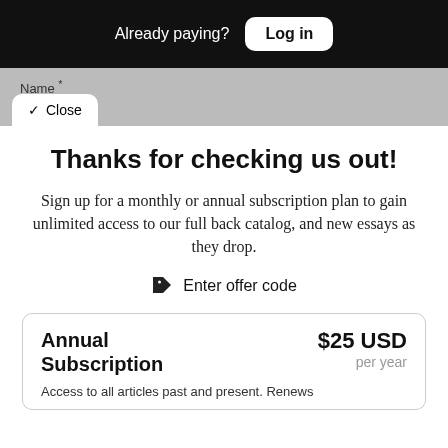Already paying? Log in
Name *
✓ Close
Thanks for checking us out!
Sign up for a monthly or annual subscription plan to gain unlimited access to our full back catalog, and new essays as they drop.
Enter offer code
Annual Subscription  $25 USD per year  Access to all articles past and present. Renews